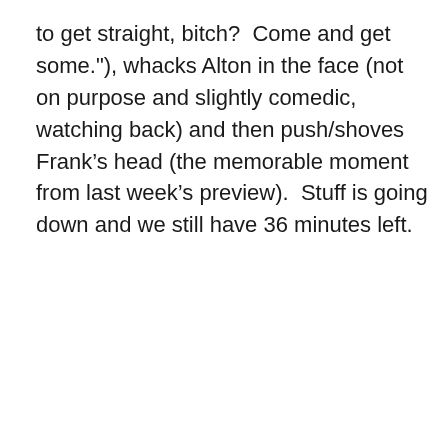to get straight, bitch?  Come and get some."), whacks Alton in the face (not on purpose and slightly comedic, watching back) and then push/shoves Frank’s head (the memorable moment from last week’s preview).  Stuff is going down and we still have 36 minutes left.